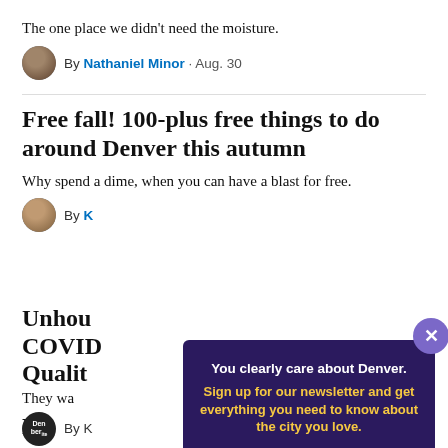The one place we didn't need the moisture.
By Nathaniel Minor · Aug. 30
Free fall! 100-plus free things to do around Denver this autumn
Why spend a dime, when you can have a blast for free.
By K[truncated]
Unhou[truncated] COVID[truncated] Qualit[truncated]
They wa[truncated]
By K[truncated]
[Figure (screenshot): Newsletter signup modal with dark purple background. White headline: 'You clearly care about Denver.' Yellow subtext: 'Sign up for our newsletter and get everything you need to know about the city you love.' Email input field and yellow 'Sign me up!' button. Purple close button with X in top right corner.]
D[truncated]